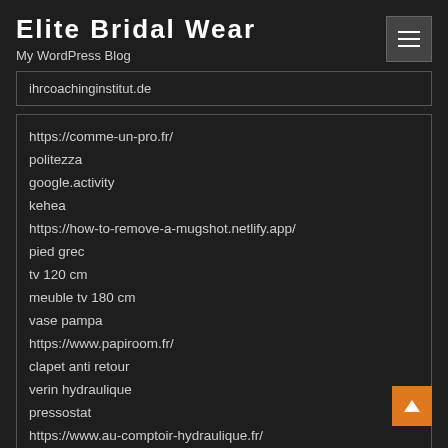Elite Bridal Wear
My WordPress Blog
ihrcoachinginstitut.de
https://comme-un-pro.fr/
politezza
google.activity
kehea
https://how-to-remove-a-mugshot.netlify.app/
pied grec
tv 120 cm
meuble tv 180 cm
vase pampa
https://www.papiroom.fr/
clapet anti retour
verin hydraulique
pressostat
https://www.au-comptoir-hydraulique.fr/